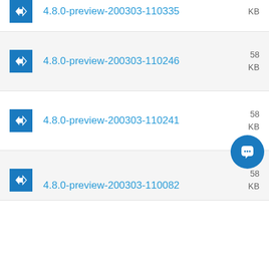4.8.0-preview-200303-110335   KB
4.8.0-preview-200303-110246   58 KB
4.8.0-preview-200303-110241   58 KB
4.8.0-preview-200303-110082   58 KB